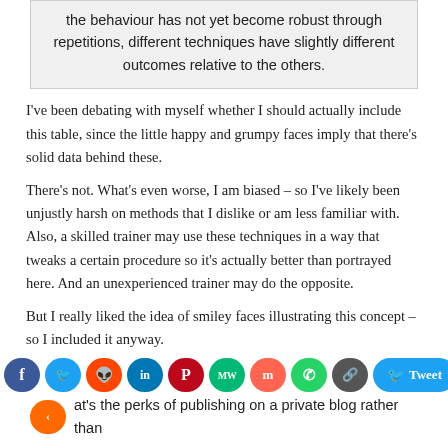the behaviour has not yet become robust through repetitions, different techniques have slightly different outcomes relative to the others.
I've been debating with myself whether I should actually include this table, since the little happy and grumpy faces imply that there's solid data behind these.
There's not. What's even worse, I am biased – so I've likely been unjustly harsh on methods that I dislike or am less familiar with. Also, a skilled trainer may use these techniques in a way that tweaks a certain procedure so it's actually better than portrayed here. And an unexperienced trainer may do the opposite.
But I really liked the idea of smiley faces illustrating this concept – so I included it anyway.
[Figure (other): Social sharing buttons: Facebook, Twitter, Reddit, LinkedIn, Pinterest, MW, Mix, WhatsApp, Copy link, Tweet button, Share button]
at's the perks of publishing on a private blog rather than